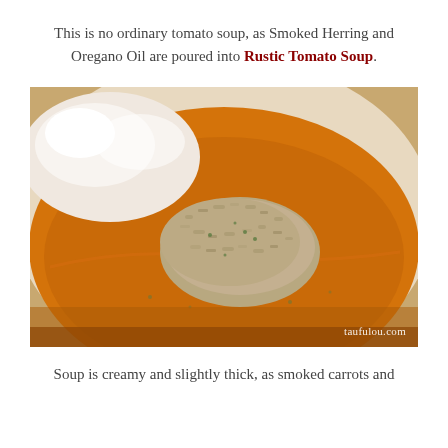This is no ordinary tomato soup, as Smoked Herring and Oregano Oil are poured into Rustic Tomato Soup.
[Figure (photo): A white bowl containing bright orange-yellow tomato soup with a mound of smoked herring mixture in the center, watermark reads taufulou.com]
Soup is creamy and slightly thick, as smoked carrots and